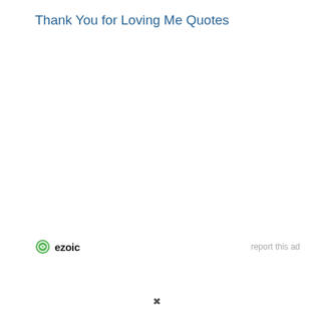Thank You for Loving Me Quotes
[Figure (other): Advertisement placeholder area (blank white space)]
ezoic   report this ad